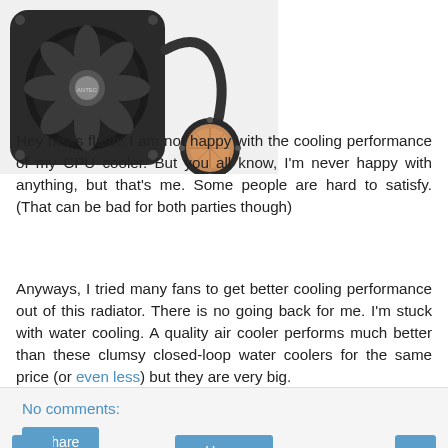[Figure (photo): Photo of a CPU liquid cooler with a fan and copper water block, shown against a white background.]
Hey news flash! I am not happy with the cooling performance of my CPU cooler. But you all know, I'm never happy with anything, but that's me. Some people are hard to satisfy. (That can be bad for both parties though)
Anyways, I tried many fans to get better cooling performance out of this radiator. There is no going back for me. I'm stuck with water cooling. A quality air cooler performs much better than these clumsy closed-loop water coolers for the same price (or even less) but they are very big.
No comments:
Share